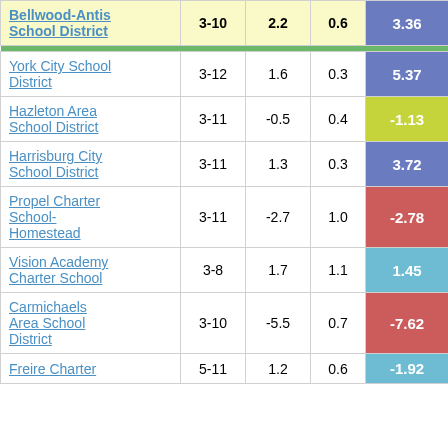| School/District | Grades | Col3 | Col4 | Score |
| --- | --- | --- | --- | --- |
| Bellwood-Antis School District | 3-10 | 2.2 | 0.6 | 3.36 |
| York City School District | 3-12 | 1.6 | 0.3 | 5.37 |
| Hazleton Area School District | 3-11 | -0.5 | 0.4 | -1.13 |
| Harrisburg City School District | 3-11 | 1.3 | 0.3 | 3.72 |
| Propel Charter School-Homestead | 3-11 | -2.7 | 1.0 | -2.78 |
| Vision Academy Charter School | 3-8 | 1.7 | 1.1 | 1.45 |
| Carmichaels Area School District | 3-10 | -5.5 | 0.7 | -7.62 |
| Freire Charter | 5-11 | 1.2 | 0.6 | -1.92 |